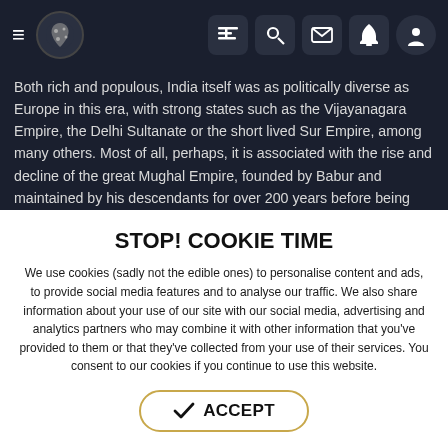≡ [logo] [list] [search] [mail] [bell] [user]
Both rich and populous, India itself was as politically diverse as Europe in this era, with strong states such as the Vijayanagara Empire, the Delhi Sultanate or the short lived Sur Empire, among many others. Most of all, perhaps, it is associated with the rise and decline of the great Mughal Empire, founded by Babur and maintained by his descendants for over 200 years before being eclipsed by the sudden rise of the Maratha Confederacy and various local strongmen going into business for themselves.

Eventually, India was also where Great Britain and its East India
STOP! COOKIE TIME
We use cookies (sadly not the edible ones) to personalise content and ads, to provide social media features and to analyse our traffic. We also share information about your use of our site with our social media, advertising and analytics partners who may combine it with other information that you've provided to them or that they've collected from your use of their services. You consent to our cookies if you continue to use this website.
✓ ACCEPT